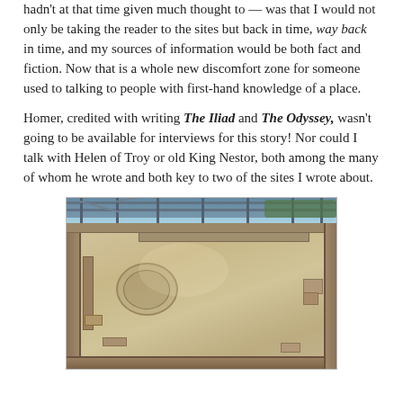hadn't at that time given much thought to — was that I would not only be taking the reader to the sites but back in time, way back in time, and my sources of information would be both fact and fiction. Now that is a whole new discomfort zone for someone used to talking to people with first-hand knowledge of a place.
Homer, credited with writing The Iliad and The Odyssey, wasn't going to be available for interviews for this story! Nor could I talk with Helen of Troy or old King Nestor, both among the many of whom he wrote and both key to two of the sites I wrote about.
[Figure (photo): Photograph of an ancient Greek archaeological excavation site showing stone ruins and foundations under a metal roof/scaffolding structure. The excavated area shows stone walls forming rectangular rooms and a circular feature on the sandy floor.]